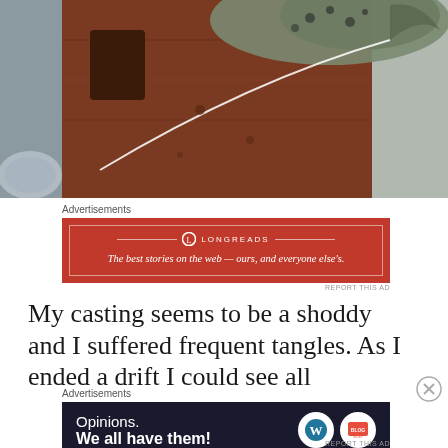[Figure (photo): A fish being held over a wooden surface or cutting board, with fishing line visible; close-up outdoors fishing scene with reddish-brown wood and fish tail visible]
Advertisements
[Figure (other): Longreads advertisement banner: red background with white border, Longreads logo and tagline 'The best stories on the web — ours, and everyone else's.']
REPORT THIS AD
My casting seems to be a shoddy and I suffered frequent tangles. As I ended a drift I could see all
Advertisements
[Figure (other): WordPress advertisement: dark background with text 'Opinions. We all have them!' and WordPress and another logo on the right.]
REPORT THIS AD